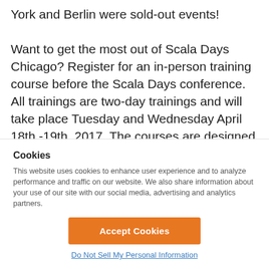York and Berlin were sold-out events! Want to get the most out of Scala Days Chicago? Register for an in-person training course before the Scala Days conference. All trainings are two-day trainings and will take place Tuesday and Wednesday April 18th -19th, 2017. The courses are designed for developers of all levels of proficiency with the Lightbend Reactive Platform. Register with the code lightbendfriend to get $50 off the early-bird
Cookies
This website uses cookies to enhance user experience and to analyze performance and traffic on our website. We also share information about your use of our site with our social media, advertising and analytics partners.
Accept Cookies
Do Not Sell My Personal Information